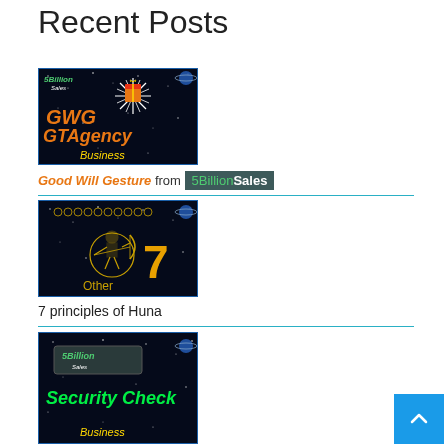Recent Posts
[Figure (illustration): GWG GTAgency Business banner with space background, 5BillionSales logo, starburst gift graphic, orange text reading GWG GTAgency, yellow Business text]
Good Will Gesture from 5BillionSales
[Figure (illustration): Space background image with golden robot/archer figure in circle, large yellow number 7, text Other at bottom in yellow]
7 principles of Huna
[Figure (illustration): 5BillionSales Security Check Business banner with space background, green text Security Check, yellow Business text]